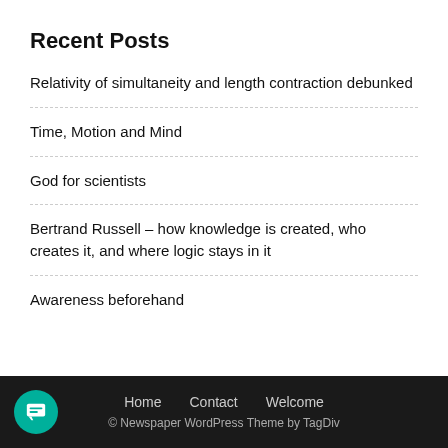Recent Posts
Relativity of simultaneity and length contraction debunked
Time, Motion and Mind
God for scientists
Bertrand Russell – how knowledge is created, who creates it, and where logic stays in it
Awareness beforehand
Home   Contact   Welcome
© Newspaper WordPress Theme by TagDiv